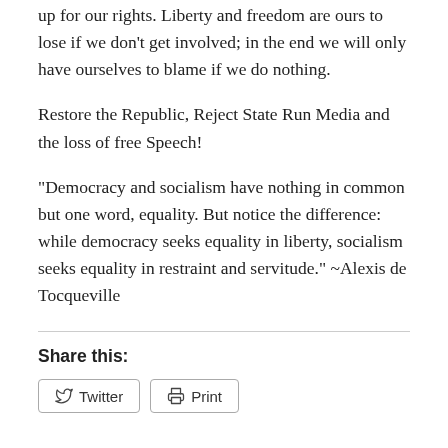up for our rights. Liberty and freedom are ours to lose if we don't get involved; in the end we will only have ourselves to blame if we do nothing.
Restore the Republic, Reject State Run Media and the loss of free Speech!
“Democracy and socialism have nothing in common but one word, equality. But notice the difference: while democracy seeks equality in liberty, socialism seeks equality in restraint and servitude.” ~Alexis de Tocqueville
Share this:
Twitter   Print